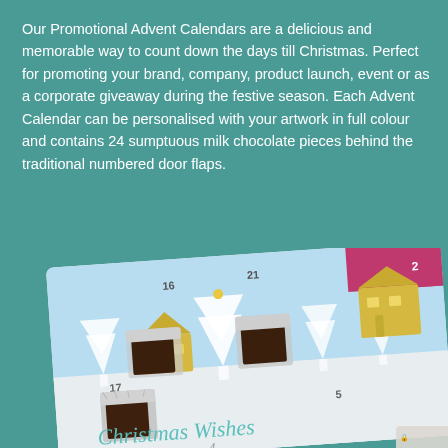Our Promotional Advent Calendars are a delicious and memorable way to count down the days till Christmas. Perfect for promoting your brand, company, product launch, event or as a corporate giveaway during the festive season. Each Advent Calendar can be personalised with your artwork in full colour and contains 24 sumptuous milk chocolate pieces behind the traditional numbered door flaps.
[Figure (photo): A promotional advent calendar photo showing an open advent calendar with a winter village scene (blue sky, white trees, yellow buildings with numbers 17, 5, 16, 21 visible), with several open flaps revealing wrapped chocolate pieces in silver foil, and 'Christmas Wishes' written in teal cursive at the bottom. A reCAPTCHA logo and 'Privacy - Terms' text appear in the bottom right corner.]